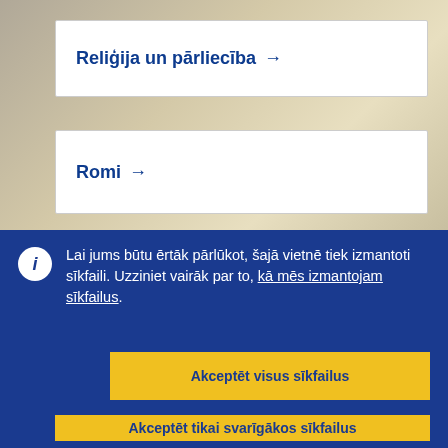[Figure (photo): Background photo of people, faded/washed out, serving as backdrop for navigation cards]
Reliģija un pārliecība →
Romi →
Lai jums būtu ērtāk pārlūkot, šajā vietnē tiek izmantoti sīkfaili. Uzziniet vairāk par to, kā mēs izmantojam sīkfailus.
Akceptēt visus sīkfailus
Akceptēt tikai svarīgākos sīkfailus